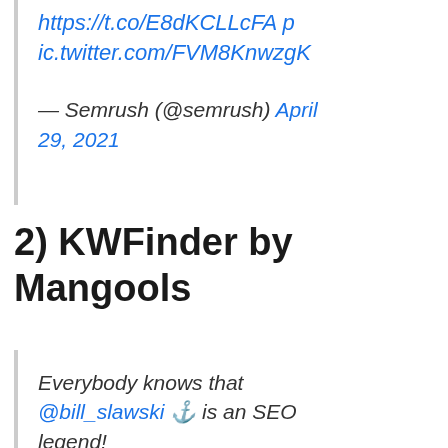https://t.co/E8dKCLLcFA pic.twitter.com/FVM8KnwzgK
— Semrush (@semrush) April 29, 2021
2) KWFinder by Mangools
Everybody knows that @bill_slawski ⚓ is an SEO legend!
BUT did you know that he's